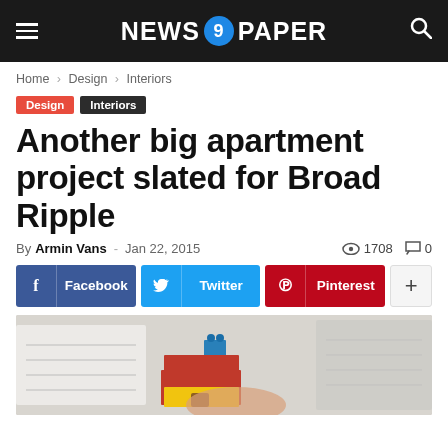NEWS 9 PAPER
Home › Design › Interiors
Design  Interiors
Another big apartment project slated for Broad Ripple
By Armin Vans - Jan 22, 2015   1708   0
Facebook   Twitter   Pinterest   +
[Figure (photo): Photo of a lego house model with architectural drawings in background]